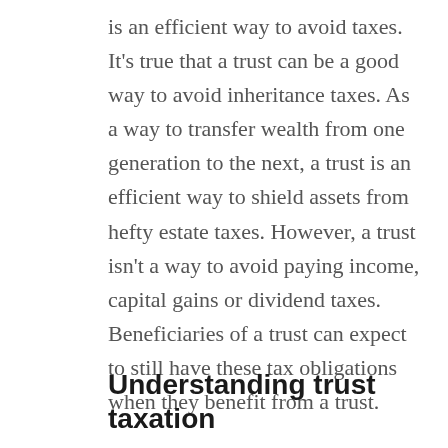is an efficient way to avoid taxes. It's true that a trust can be a good way to avoid inheritance taxes. As a way to transfer wealth from one generation to the next, a trust is an efficient way to shield assets from hefty estate taxes. However, a trust isn't a way to avoid paying income, capital gains or dividend taxes. Beneficiaries of a trust can expect to still have these tax obligations when they benefit from a trust.
Understanding trust taxation